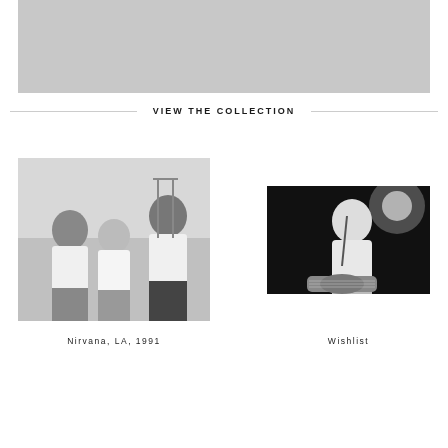[Figure (photo): Gray placeholder image at top of page, rectangular, light gray background]
VIEW THE COLLECTION
[Figure (photo): Black and white photo of Nirvana band members, three people standing, taken in LA 1991]
[Figure (photo): Black and white concert photo of a musician singing and playing guitar on stage]
Nirvana, LA, 1991
Wishlist